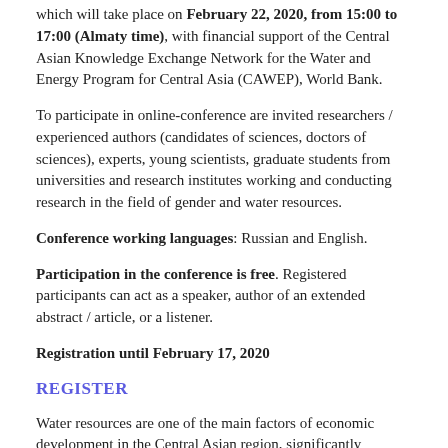which will take place on February 22, 2020, from 15:00 to 17:00 (Almaty time), with financial support of the Central Asian Knowledge Exchange Network for the Water and Energy Program for Central Asia (CAWEP), World Bank.
To participate in online-conference are invited researchers / experienced authors (candidates of sciences, doctors of sciences), experts, young scientists, graduate students from universities and research institutes working and conducting research in the field of gender and water resources.
Conference working languages: Russian and English.
Participation in the conference is free. Registered participants can act as a speaker, author of an extended abstract / article, or a listener.
Registration until February 17, 2020
REGISTER
Water resources are one of the main factors of economic development in the Central Asian region, significantly affected by climate change at different levels. Despite the recognition of the role of women in water management, the introduction of methods and strategies to overcome gender and, not only, barriers to women's equal participation